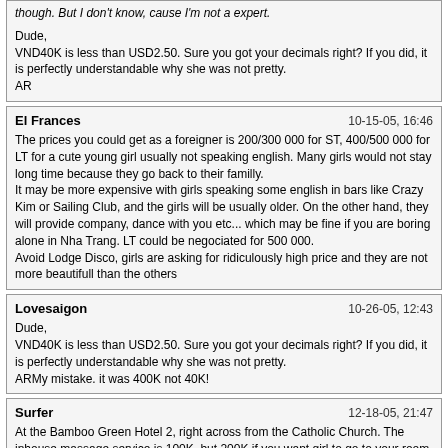though. But I don't know, cause I'm not a expert.

Dude,
VND40K is less than USD2.50. Sure you got your decimals right? If you did, it is perfectly understandable why she was not pretty.
AR
El Frances
10-15-05, 16:46
The prices you could get as a foreigner is 200/300 000 for ST, 400/500 000 for LT for a cute young girl usually not speaking english. Many girls would not stay long time because they go back to their familly.
It may be more expensive with girls speaking some english in bars like Crazy Kim or Sailing Club, and the girls will be usually older. On the other hand, they will provide company, dance with you etc... which may be fine if you are boring alone in Nha Trang. LT could be negociated for 500 000.
Avoid Lodge Disco, girls are asking for ridiculously high price and they are not more beautifull than the others
Lovesaigon
10-26-05, 12:43
Dude,
VND40K is less than USD2.50. Sure you got your decimals right? If you did, it is perfectly understandable why she was not pretty.
ARMy mistake. it was 400K not 40K!
Surfer
12-18-05, 21:47
At the Bamboo Green Hotel 2, right across from the Catholic Church. The inhouse massage service is 100K, but 200K if you want girl to go to your room (which I ALWAYS prefer). Decent massage, though girl appeared to speak no English until time for negotiation over extras. AMAZING how many of them can haggle over prices in English though seemingly cannot speak a word. Firm on 400K and I was just as firm on CIM. Nice rack, average face. Hotel is quite nice and I have a riverview from my room.